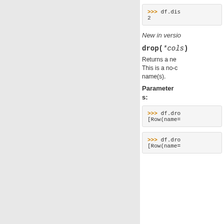[Figure (screenshot): Code block showing >>> df.dis and output 2]
New in versio...
drop(*cols)
Returns a ne... This is a no-c... name(s).
Parameters:
[Figure (screenshot): Code block showing >>> df.dro and [Row(name=...]
[Figure (screenshot): Code block showing >>> df.dro and [Row(name=...]